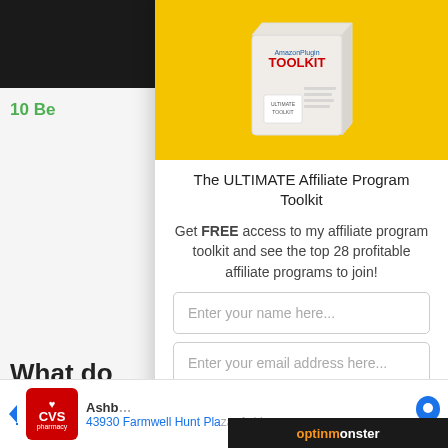[Figure (screenshot): Black image block top-left corner, partially visible]
10 Be
[Figure (photo): Affiliate Program Toolkit box product image on yellow background]
The ULTIMATE Affiliate Program Toolkit
Get FREE access to my affiliate program toolkit and see the top 28 profitable affiliate programs to join!
Enter your name here...
Enter your email address here...
Yes! Send Me The FREE PDF
What do
[Figure (screenshot): CVS Pharmacy advertisement banner at bottom with address: 43930 Farmwell Hunt Plaza, Ashburn]
[Figure (logo): OptinMonster logo bar at bottom right]